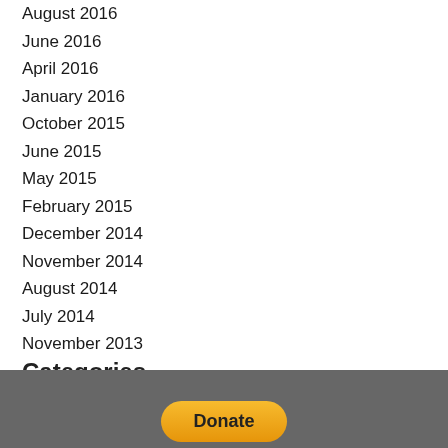August 2016
June 2016
April 2016
January 2016
October 2015
June 2015
May 2015
February 2015
December 2014
November 2014
August 2014
July 2014
November 2013
Categories
All
RSS Feed
[Figure (other): Donate button in footer area]